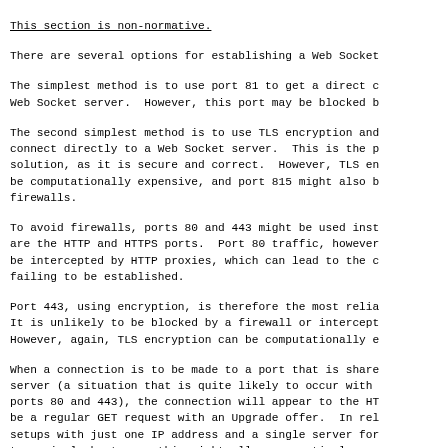_This section is non-normative._
There are several options for establishing a Web Socket
The simplest method is to use port 81 to get a direct c
Web Socket server.  However, this port may be blocked b
The second simplest method is to use TLS encryption and
connect directly to a Web Socket server.  This is the p
solution, as it is secure and correct.  However, TLS en
be computationally expensive, and port 815 might also b
firewalls.
To avoid firewalls, ports 80 and 443 might be used inst
are the HTTP and HTTPS ports.  Port 80 traffic, however
be intercepted by HTTP proxies, which can lead to the c
failing to be established.
Port 443, using encryption, is therefore the most relia
It is unlikely to be blocked by a firewall or intercept
However, again, TLS encryption can be computationally e
When a connection is to be made to a port that is share
server (a situation that is quite likely to occur with 
ports 80 and 443), the connection will appear to the HT
be a regular GET request with an Upgrade offer.  In rel
setups with just one IP address and a single server for
to a single hostname, this might allow a practical way 
based on the Web Socket protocol to be deployed.  In mo